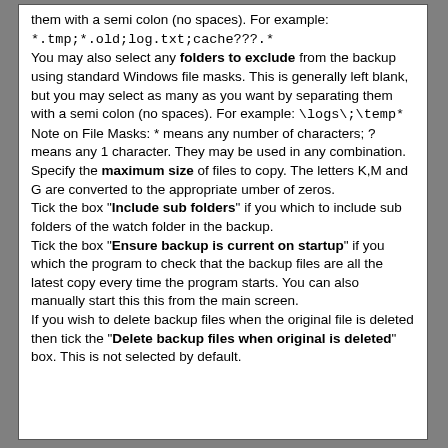them with a semi colon (no spaces). For example: *.tmp;*.old;log.txt;cache???.* You may also select any folders to exclude from the backup using standard Windows file masks. This is generally left blank, but you may select as many as you want by separating them with a semi colon (no spaces). For example: \logs\;\temp* Note on File Masks: * means any number of characters; ? means any 1 character. They may be used in any combination. Specify the maximum size of files to copy. The letters K,M and G are converted to the appropriate umber of zeros. Tick the box "Include sub folders" if you which to include sub folders of the watch folder in the backup. Tick the box "Ensure backup is current on startup" if you which the program to check that the backup files are all the latest copy every time the program starts. You can also manually start this this from the main screen. If you wish to delete backup files when the original file is deleted then tick the "Delete backup files when original is deleted" box. This is not selected by default.